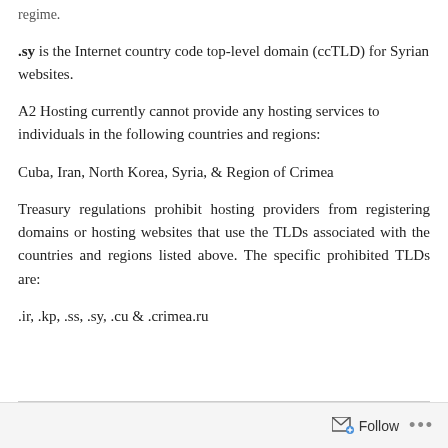regime.
.sy is the Internet country code top-level domain (ccTLD) for Syrian websites.
A2 Hosting currently cannot provide any hosting services to individuals in the following countries and regions:
Cuba, Iran, North Korea, Syria, & Region of Crimea
Treasury regulations prohibit hosting providers from registering domains or hosting websites that use the TLDs associated with the countries and regions listed above. The specific prohibited TLDs are:
.ir, .kp, .ss, .sy, .cu & .crimea.ru
Follow